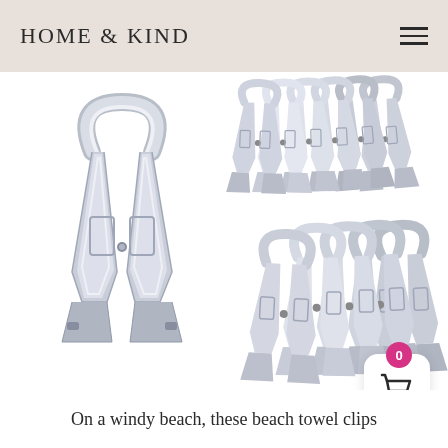HOME & KIND
[Figure (photo): Multiple shiny stainless steel beach towel clips. One large clip shown on the left, two groups of multiple clips shown stacked together on the right side, all with a polished chrome finish.]
On a windy beach, these beach towel clips